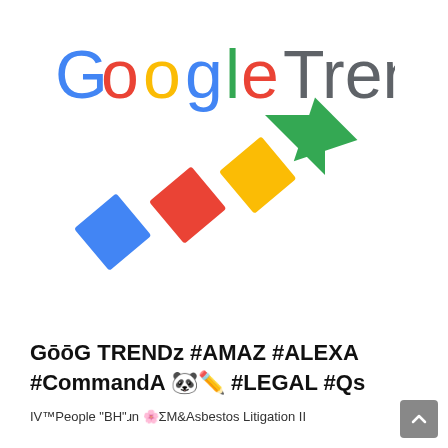[Figure (logo): Google Trends logo with colorful arrow icon made of overlapping colored bars pointing upper-right]
GōōG TRENDz #AMAZ #ALEXA #CommandA 🐼✏️ #LEGAL #Qs
IV™People "BH"ɹn 🌸ΣM&Asbestos Litigation II